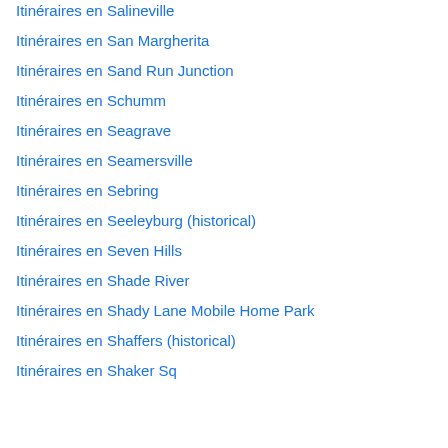Itinéraires en Salineville
Itinéraires en San Margherita
Itinéraires en Sand Run Junction
Itinéraires en Schumm
Itinéraires en Seagrave
Itinéraires en Seamersville
Itinéraires en Sebring
Itinéraires en Seeleyburg (historical)
Itinéraires en Seven Hills
Itinéraires en Shade River
Itinéraires en Shady Lane Mobile Home Park
Itinéraires en Shaffers (historical)
Itinéraires en Shaker Sq